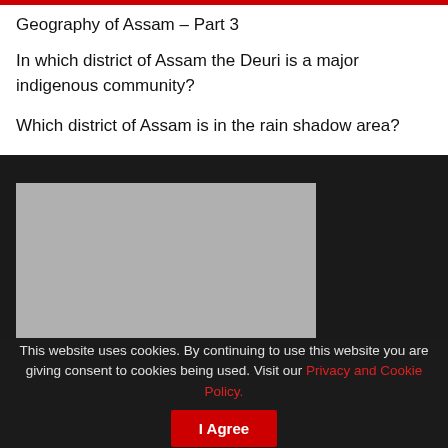Geography of Assam – Part 3
In which district of Assam the Deuri is a major indigenous community?
Which district of Assam is in the rain shadow area?
[Figure (screenshot): Dark background section with a grey video placeholder rectangle on the left side]
This website uses cookies. By continuing to use this website you are giving consent to cookies being used. Visit our Privacy and Cookie Policy.